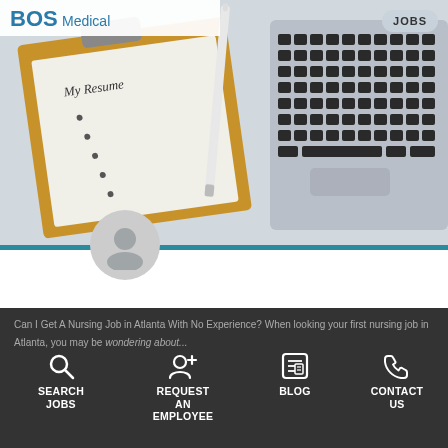[Figure (screenshot): Hero image showing a clipboard with 'My Resume' paper, a stylus/pen, and a laptop keyboard on a marble/grey surface. BOS Medical logo in top-left, JOBS pill button in top-right.]
How to Land A Nursing Job in Atlanta With No Experience
Can I Get A Nursing Job in Atlanta With No Experience? When looking your first nursing job in Atlanta, you may be wondering about...
SEARCH JOBS | REQUEST AN EMPLOYEE | BLOG | CONTACT US